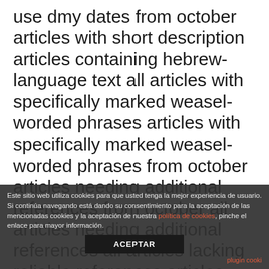use dmy dates from october articles with short description articles containing hebrew-language text all articles with specifically marked weasel-worded phrases articles with specifically marked weasel-worded phrases from october articles needing additional references from october all articles needing additional references all articles lacking reliable references articles lacking reliable references from december all accuracy disputes articles with disputed statements from december wikipedia articles incorporating a citation from eb9 wikipedia articles incorporating a citation from the
Este sitio web utiliza cookies para que usted tenga la mejor experiencia de usuario. Si continúa navegando está dando su consentimiento para la aceptación de las mencionadas cookies y la aceptación de nuestra política de cookies, pinche el enlace para mayor información. ACEPTAR plugin cooki